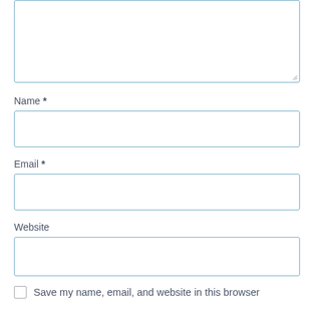[Figure (screenshot): A textarea form field (comment box) with a resize handle in the bottom-right corner, shown partially cropped at the top of the page.]
Name *
[Figure (screenshot): A single-line text input field for Name.]
Email *
[Figure (screenshot): A single-line text input field for Email.]
Website
[Figure (screenshot): A single-line text input field for Website.]
Save my name, email, and website in this browser